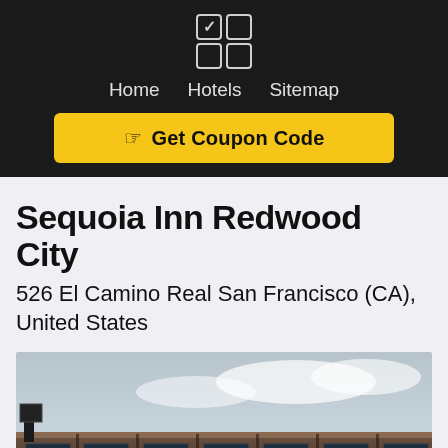[Figure (logo): Website logo: 2x2 grid of squares, top-left has a checkmark]
Home  Hotels  Sitemap
☞ Get Coupon Code
Sequoia Inn Redwood City
526 El Camino Real San Francisco (CA), United States
[Figure (photo): Exterior photo of the Sequoia Inn Redwood City motel building, showing a low-rise brown building with multiple rooms and windows, with a cloudy sky background]